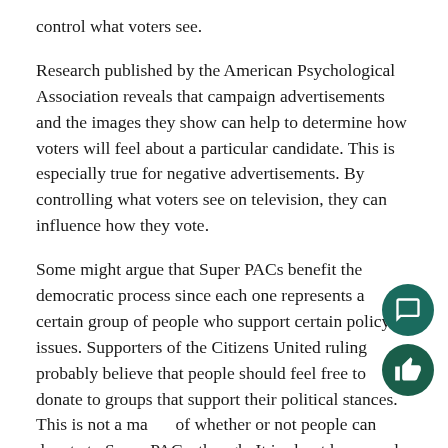control what voters see.
Research published by the American Psychological Association reveals that campaign advertisements and the images they show can help to determine how voters will feel about a particular candidate. This is especially true for negative advertisements. By controlling what voters see on television, they can influence how they vote.
Some might argue that Super PACs benefit the democratic process since each one represents a certain group of people who support certain policy issues. Supporters of the Citizens United ruling probably believe that people should feel free to donate to groups that support their political stances. This is not a matter of whether or not people can donate to Super PACs, though. It is about how much they can donate.
When people have permission to donate as much as